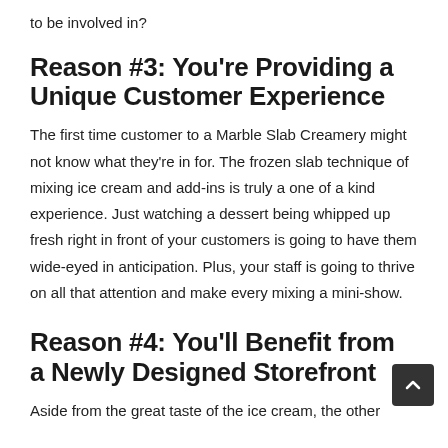to be involved in?
Reason #3: You're Providing a Unique Customer Experience
The first time customer to a Marble Slab Creamery might not know what they're in for. The frozen slab technique of mixing ice cream and add-ins is truly a one of a kind experience. Just watching a dessert being whipped up fresh right in front of your customers is going to have them wide-eyed in anticipation. Plus, your staff is going to thrive on all that attention and make every mixing a mini-show.
Reason #4: You'll Benefit from a Newly Designed Storefront
Aside from the great taste of the ice cream, the other